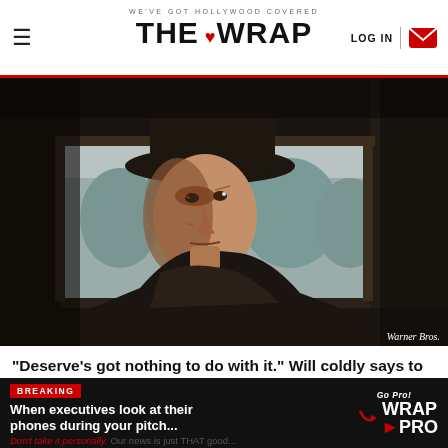WE'VE GOT HOLLYWOOD COVERED — THE WRAP — LOG IN
[Figure (photo): Clint Eastwood in a cowboy hat, moody dark western scene, close-up portrait from Unforgiven film. Credit: Warner Bros.]
Warner Bros.
“Deserve’s got nothing to do with it.” Will coldly says to
BREAKING — When executives look at their phones during your pitch... Don't take it personally. Our news is just THAT good... — Go Pro! WRAP PRO